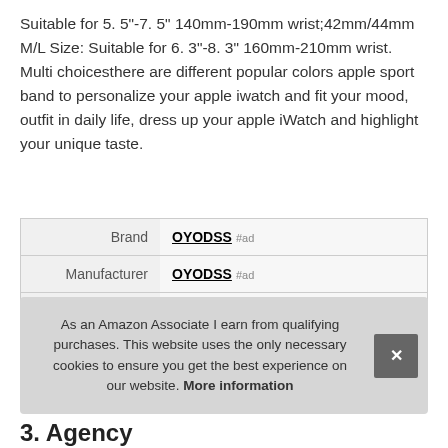Suitable for 5. 5"-7. 5" 140mm-190mm wrist;42mm/44mm M/L Size: Suitable for 6. 3"-8. 3" 160mm-210mm wrist. Multi choicesthere are different popular colors apple sport band to personalize your apple iwatch and fit your mood, outfit in daily life, dress up your apple iWatch and highlight your unique taste.
|  |  |
| --- | --- |
| Brand | OYODSS #ad |
| Manufacturer | OYODSS #ad |
| Part Number | YDS-21Y-0222003A |
As an Amazon Associate I earn from qualifying purchases. This website uses the only necessary cookies to ensure you get the best experience on our website. More information
3. Agency